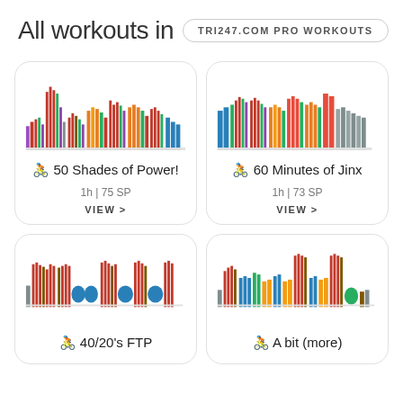All workouts in TRI247.COM PRO WORKOUTS
[Figure (bar-chart): Colorful vertical bar chart showing workout intensity intervals with red, green, yellow, purple, blue, orange bars of varying heights]
🚴 50 Shades of Power!
1h | 75 SP
VIEW >
[Figure (bar-chart): Colorful vertical bar chart showing workout intensity intervals with blue, green, red, orange, gray bars]
🚴 60 Minutes of Jinx
1h | 73 SP
VIEW >
[Figure (bar-chart): Colorful vertical bar chart with red, brown, blue intervals showing FTP workout pattern]
🚴 40/20's FTP
[Figure (bar-chart): Colorful vertical bar chart with red, blue, green, yellow bars showing workout intervals]
🚴 A bit (more)